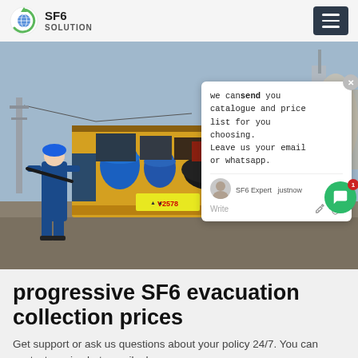SF6 SOLUTION
[Figure (photo): A worker in blue coveralls and hard hat unloading equipment from a yellow truck at an electrical substation. An SF6 equipment service vehicle loaded with hoses, cylinders, and industrial equipment. A chat popup overlay is visible saying 'we can send you catalogue and price list for you choosing. Leave us your email or whatsapp.' with SF6 Expert label and justnow timestamp.]
progressive SF6 evacuation collection prices
Get support or ask us questions about your policy 24/7. You can contact us via chat, email, phone